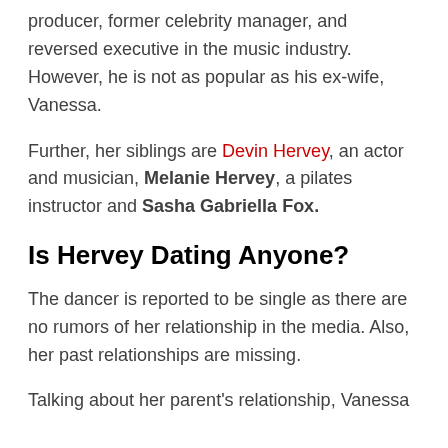producer, former celebrity manager, and reversed executive in the music industry. However, he is not as popular as his ex-wife, Vanessa.
Further, her siblings are Devin Hervey, an actor and musician, Melanie Hervey, a pilates instructor and Sasha Gabriella Fox.
Is Hervey Dating Anyone?
The dancer is reported to be single as there are no rumors of her relationship in the media. Also, her past relationships are missing.
Talking about her parent's relationship, Vanessa